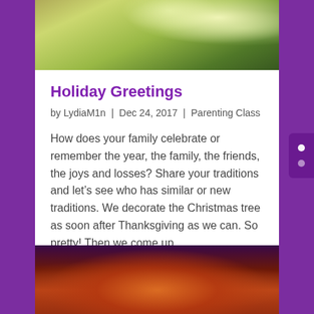[Figure (photo): Christmas tree with ornaments and lights, warm greenish-yellow tones]
Holiday Greetings
by LydiaM1n  |  Dec 24, 2017  |  Parenting Class
How does your family celebrate or remember the year, the family, the friends, the joys and losses? Share your traditions and let’s see who has similar or new traditions. We decorate the Christmas tree as soon after Thanksgiving as we can. So pretty! Then we come up…
[Figure (photo): Blurry warm orange and purple bokeh lights, candles or holiday lights]